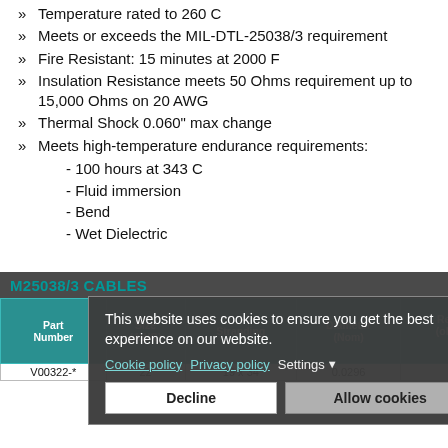Temperature rated to 260 C
Meets or exceeds the MIL-DTL-25038/3 requirement
Fire Resistant: 15 minutes at 2000 F
Insulation Resistance meets 50 Ohms requirement up to 15,000 Ohms on 20 AWG
Thermal Shock 0.060" max change
Meets high-temperature endurance requirements:
- 100 hours at 343 C
- Fluid immersion
- Bend
- Wet Dielectric
M25038/3 CABLES
| Part Number | Size (AWG) | Stranding | Diameter (Nom) | DC Resistance (ohms/1000 ft) Max | Cable Diameter (Min) | Cable Diam (M) |
| --- | --- | --- | --- | --- | --- | --- |
| V00322-* | 22 | 19 x 34 | 0.0296 | 23.7 | 0.040 | 0.0 |